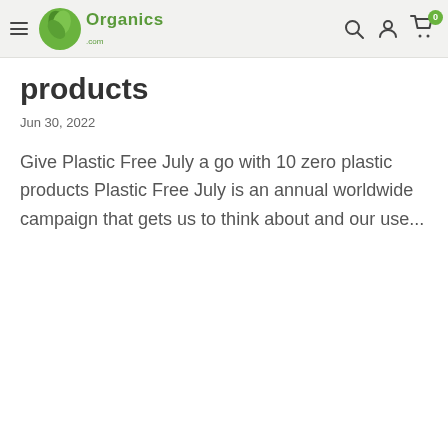Organics.com navigation header with hamburger menu, logo, search, account, and cart icons
products
Jun 30, 2022
Give Plastic Free July a go with 10 zero plastic products Plastic Free July is an annual worldwide campaign that gets us to think about and our use...